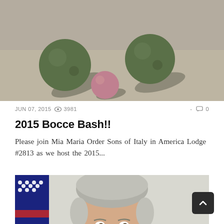[Figure (photo): Close-up photo of bocce balls on a sandy/concrete surface, viewed from above. Several green and one pinkish bocce ball visible with shadows.]
JUN 07, 2015 👁 3981  -  💬 0
2015 Bocce Bash!!
Please join Mia Maria Order Sons of Italy in America Lodge #2813 as we host the 2015...
[Figure (photo): Portrait photo of a middle-aged man with gray hair, smiling, with an American flag visible in the background to the left.]